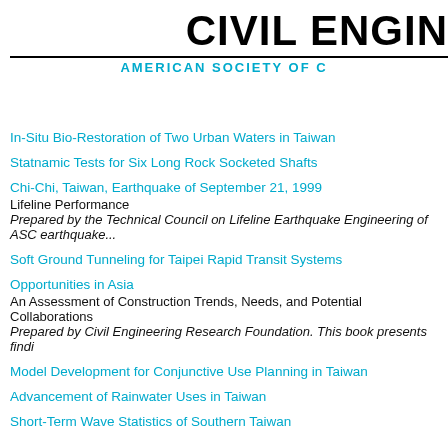CIVIL ENGIN
AMERICAN SOCIETY OF C
In-Situ Bio-Restoration of Two Urban Waters in Taiwan
Statnamic Tests for Six Long Rock Socketed Shafts
Chi-Chi, Taiwan, Earthquake of September 21, 1999
Lifeline Performance
Prepared by the Technical Council on Lifeline Earthquake Engineering of ASC earthquake...
Soft Ground Tunneling for Taipei Rapid Transit Systems
Opportunities in Asia
An Assessment of Construction Trends, Needs, and Potential Collaborations
Prepared by Civil Engineering Research Foundation. This book presents findi
Model Development for Conjunctive Use Planning in Taiwan
Advancement of Rainwater Uses in Taiwan
Short-Term Wave Statistics of Southern Taiwan